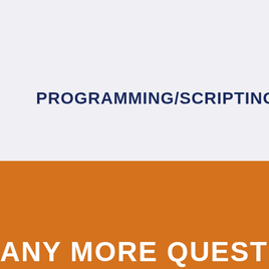PROGRAMMING/SCRIPTING
ANY MORE QUESTIONS?